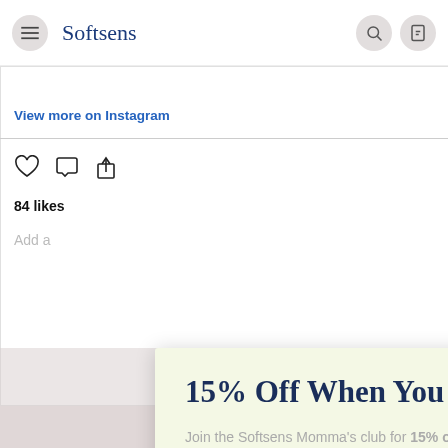Softsens
View more on Instagram
84 likes
Add a comment...
15% Off When You Join The Softsens Momma's Club
Join the Softsens Momma's club for 15% off on your next order. Also receive special news and information :)
Enter email
GO
Relate